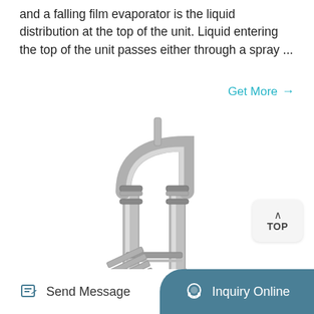and a falling film evaporator is the liquid distribution at the top of the unit. Liquid entering the top of the unit passes either through a spray ...
Get More →
[Figure (photo): A polished stainless steel falling film evaporator unit showing vertical tubes connected at the top by a U-bend pipe, with a heat exchanger coil section in the middle, supported by a metal frame structure.]
Send Message   Inquiry Online